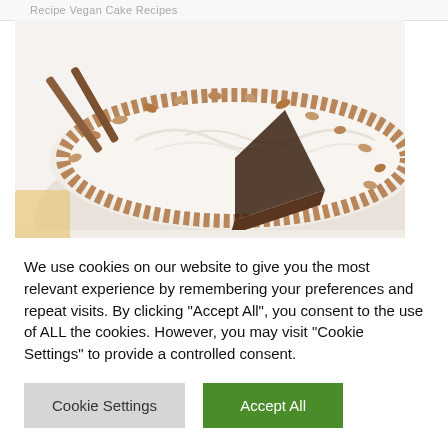Recipe Vegan Cake Recipes
[Figure (photo): Close-up photo of a cake with white creamy frosting, topped with chopped nuts around the edge, with a slice cut out revealing dark cake layers underneath. Cinnamon sticks visible in the background.]
We use cookies on our website to give you the most relevant experience by remembering your preferences and repeat visits. By clicking "Accept All", you consent to the use of ALL the cookies. However, you may visit "Cookie Settings" to provide a controlled consent.
Cookie Settings
Accept All